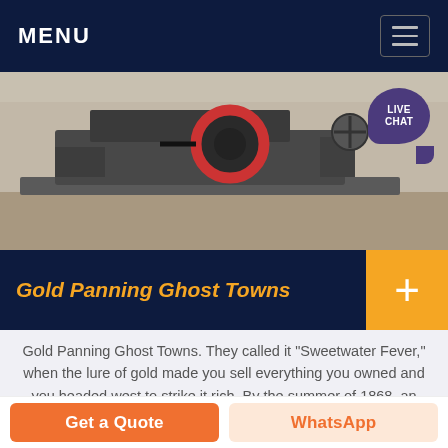MENU
[Figure (photo): Industrial gold mining machinery on a concrete floor, with a circular red-rimmed wheel visible on top of a dark metal machine body.]
Gold Panning Ghost Towns
Gold Panning Ghost Towns. They called it "Sweetwater Fever," when the lure of gold made you sell everything you owned and you headed west to strike it rich. By the summer of 1868, an estimated 2,000 people were living in the area in towns such as Miner's Delight, Atlantic City, and South Pass City to find their